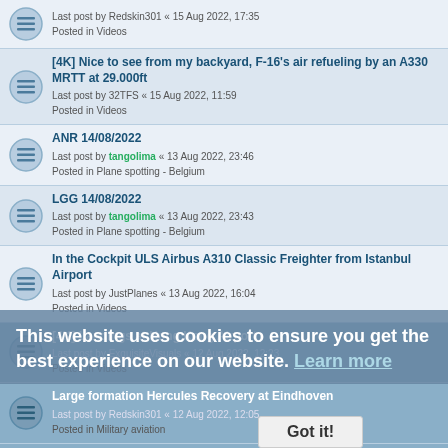Last post by Redskin301 « 15 Aug 2022, 17:35
Posted in Videos
[4K] Nice to see from my backyard, F-16's air refueling by an A330 MRTT at 29.000ft
Last post by 32TFS « 15 Aug 2022, 11:59
Posted in Videos
ANR 14/08/2022
Last post by tangolima « 13 Aug 2022, 23:46
Posted in Plane spotting - Belgium
LGG 14/08/2022
Last post by tangolima « 13 Aug 2022, 23:43
Posted in Plane spotting - Belgium
In the Cockpit ULS Airbus A310 Classic Freighter from Istanbul Airport
Last post by JustPlanes « 13 Aug 2022, 16:04
Posted in Videos
[4K] Landings at Hong Kong Airport
Last post by ExquisiteVisuals « 12 Aug 2022, 12:23
Posted in Videos
Large formation Hercules Recovery at Eindhoven
Last post by Redskin301 « 12 Aug 2022, 12:05
Posted in Military aviation
[4K] NH90 action on the runway "how maneuverable"
Last post by 32TFS « 11 Aug 2022, 22:42
Posted in Videos
KJK 11/08/2022
This website uses cookies to ensure you get the best experience on our website. Learn more
Got it!